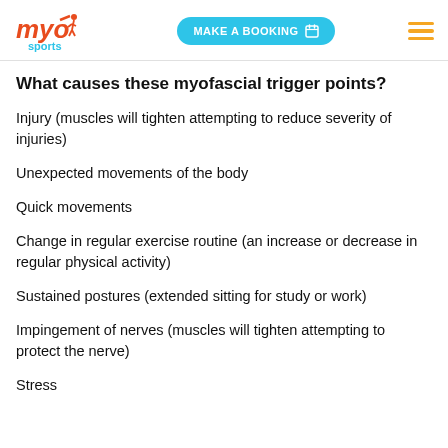myo sports | MAKE A BOOKING
What causes these myofascial trigger points?
Injury (muscles will tighten attempting to reduce severity of injuries)
Unexpected movements of the body
Quick movements
Change in regular exercise routine (an increase or decrease in regular physical activity)
Sustained postures (extended sitting for study or work)
Impingement of nerves (muscles will tighten attempting to protect the nerve)
Stress